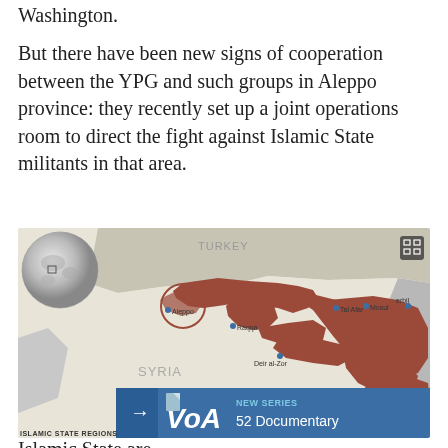Washington.
But there have been new signs of cooperation between the YPG and such groups in Aleppo province: they recently set up a joint operations room to direct the fight against Islamic State militants in that area.
[Figure (map): Map showing Islamic State regions in Syria and surrounding areas including Turkey, with red/brown shaded areas indicating Islamic State controlled territories. Cities labeled include Aleppo, Raqqa, Tal Afar, Mosul, Deir al-Zor, Damascus. A globe inset is shown in the upper left. A VOA New Series 52 Documentary banner is shown at the bottom.]
Islamic State are